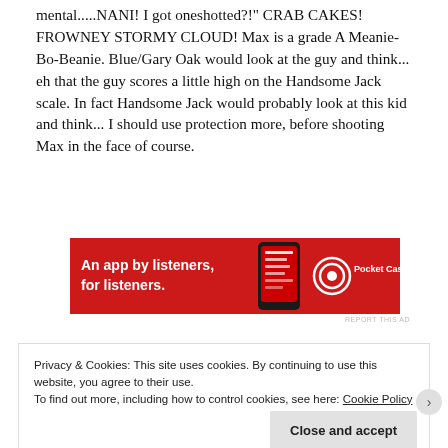mental.....NANI! I got oneshotted?!" CRAB CAKES! FROWNEY STORMY CLOUD! Max is a grade A Meanie-Bo-Beanie. Blue/Gary Oak would look at the guy and think... eh that the guy scores a little high on the Handsome Jack scale. In fact Handsome Jack would probably look at this kid and think... I should use protection more, before shooting Max in the face of course.
[Figure (infographic): Red advertisement banner for Pocket Casts app. Text: 'An app by listeners, for listeners.' with Pocket Casts logo and phone graphic.]
Privacy & Cookies: This site uses cookies. By continuing to use this website, you agree to their use. To find out more, including how to control cookies, see here: Cookie Policy